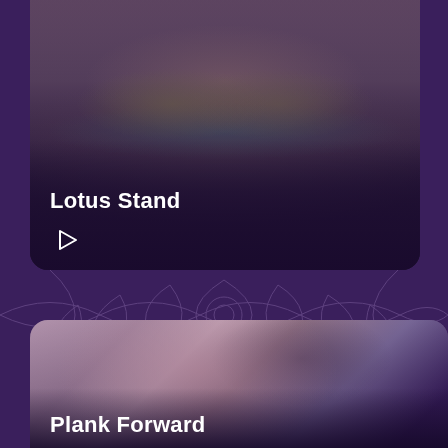[Figure (photo): Person sitting in lotus meditation pose viewed from above, wearing olive/green trousers, sitting on a blue yoga mat. Text overlay shows 'Lotus Stand' with a play button.]
Lotus Stand
[Figure (illustration): Decorative mandala/lotus line art pattern in purple tones used as separator between cards.]
[Figure (photo): Person performing a forward fold yoga pose (Plank Forward) with legs bent, grabbing ankles, viewed from the side. Purple/mauve color tones.]
Plank Forward